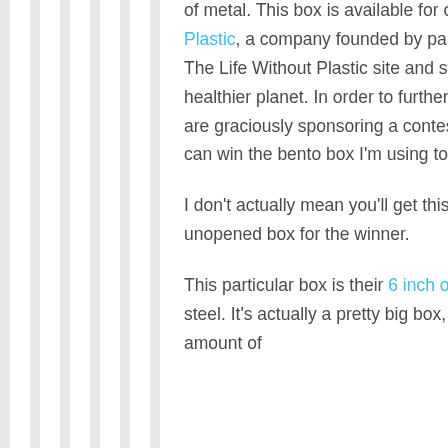of metal. This box is available for online purchase from Life Without Plastic, a company founded by parents Chantal and Jay from Canada. The Life Without Plastic site and store is their way of contributing to a healthier planet. In order to further their cause, the folks over at LWP are graciously sponsoring a contest. Keep reading to find out how you can win the bento box I'm using today!
I don't actually mean you'll get this box I'm using, ew! I have a new, unopened box for the winner.
This particular box is their 6 inch oval lunch box, made out of stainless steel. It's actually a pretty big box, I was able to fit a substantial amount of food in it. See what I mean...